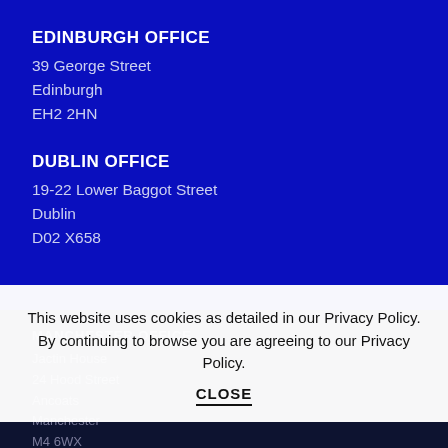EDINBURGH OFFICE
39 George Street
Edinburgh
EH2 2HN
DUBLIN OFFICE
19-22 Lower Baggot Street
Dublin
D02 X658
MANCHESTER OFFICE
Jactin House
24 Hood Street
Ancoats
Manchester
M4 6WX
This website uses cookies as detailed in our Privacy Policy. By continuing to browse you are agreeing to our Privacy Policy.
CLOSE